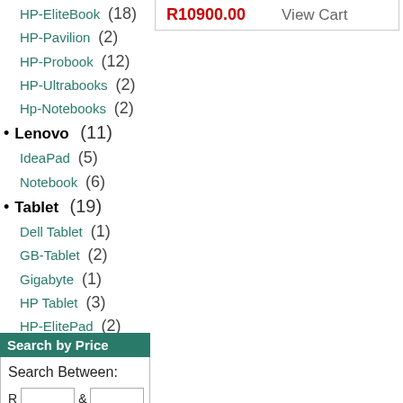HP-EliteBook (18)
HP-Pavilion (2)
HP-Probook (12)
HP-Ultrabooks (2)
Hp-Notebooks (2)
Lenovo (11)
IdeaPad (5)
Notebook (6)
Tablet (19)
Dell Tablet (1)
GB-Tablet (2)
Gigabyte (1)
HP Tablet (3)
HP-ElitePad (2)
Hp Slate (1)
Len Tablet (1)
Samsung tablet (8)
Search by Price
Search Between:
R & (input fields)
R10900.00   View Cart